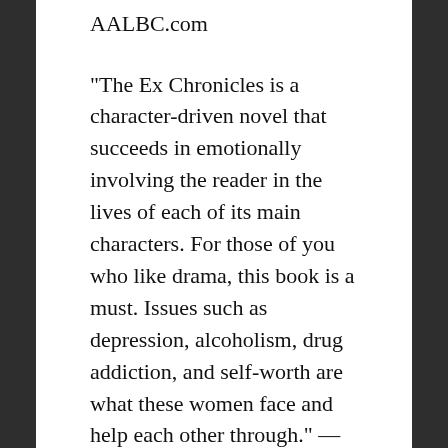AALBC.com
"The Ex Chronicles is a character-driven novel that succeeds in emotionally involving the reader in the lives of each of its main characters. For those of you who like drama, this book is a must. Issues such as depression, alcoholism, drug addiction, and self-worth are what these women face and help each other through." — BellaOnline
THE EX CHRONICLES: